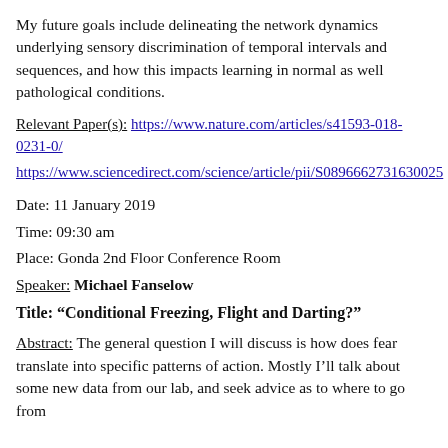My future goals include delineating the network dynamics underlying sensory discrimination of temporal intervals and sequences, and how this impacts learning in normal as well pathological conditions.
Relevant Paper(s): https://www.nature.com/articles/s41593-018-0231-0/
https://www.sciencedirect.com/science/article/pii/S089662731630025
Date: 11 January 2019
Time: 09:30 am
Place: Gonda 2nd Floor Conference Room
Speaker: Michael Fanselow
Title: “Conditional Freezing, Flight and Darting?”
Abstract: The general question I will discuss is how does fear translate into specific patterns of action. Mostly I’ll talk about some new data from our lab, and seek advice as to where to go from